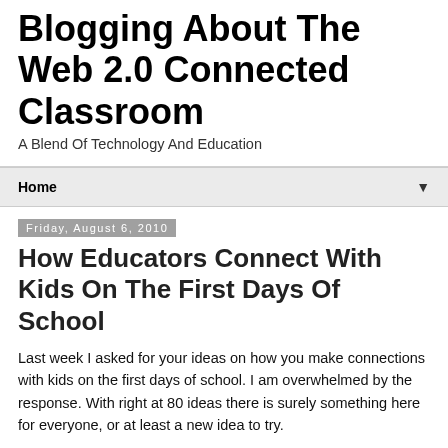Blogging About The Web 2.0 Connected Classroom
A Blend Of Technology And Education
Home ▼
Friday, August 6, 2010
How Educators Connect With Kids On The First Days Of School
Last week I asked for your ideas on how you make connections with kids on the first days of school. I am overwhelmed by the response. With right at 80 ideas there is surely something here for everyone, or at least a new idea to try.
I wanted to highlight a few of my favorites: